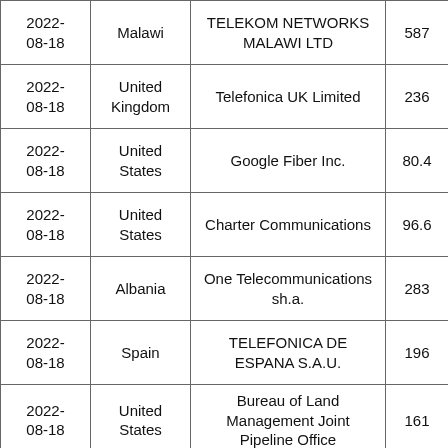| Date | Country | Organization | Value |
| --- | --- | --- | --- |
| 2022-08-18 | Malawi | TELEKOM NETWORKS MALAWI LTD | 587 |
| 2022-08-18 | United Kingdom | Telefonica UK Limited | 236 |
| 2022-08-18 | United States | Google Fiber Inc. | 80.4 |
| 2022-08-18 | United States | Charter Communications | 96.6 |
| 2022-08-18 | Albania | One Telecommunications sh.a. | 283 |
| 2022-08-18 | Spain | TELEFONICA DE ESPANA S.A.U. | 196 |
| 2022-08-18 | United States | Bureau of Land Management Joint Pipeline Office | 161 |